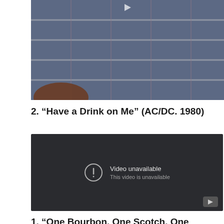[Figure (screenshot): Top portion of a video player showing a person wearing a plaid/flannel shirt, partially cropped at the top of the page.]
2. “Have a Drink on Me” (AC/DC. 1980)
[Figure (screenshot): YouTube video player showing 'Video unavailable - This video is unavailable' error message on a dark background with a warning icon and YouTube logo.]
1. “One Bourbon, One Scotch, One Beer” (John